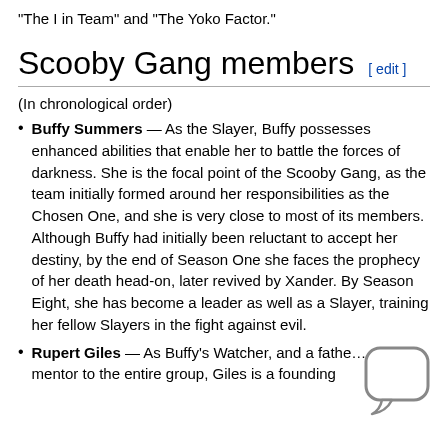"The I in Team" and "The Yoko Factor."
Scooby Gang members [edit]
(In chronological order)
Buffy Summers — As the Slayer, Buffy possesses enhanced abilities that enable her to battle the forces of darkness. She is the focal point of the Scooby Gang, as the team initially formed around her responsibilities as the Chosen One, and she is very close to most of its members. Although Buffy had initially been reluctant to accept her destiny, by the end of Season One she faces the prophecy of her death head-on, later revived by Xander. By Season Eight, she has become a leader as well as a Slayer, training her fellow Slayers in the fight against evil.
Rupert Giles — As Buffy's Watcher, and a father figure and mentor to the entire group, Giles is a founding